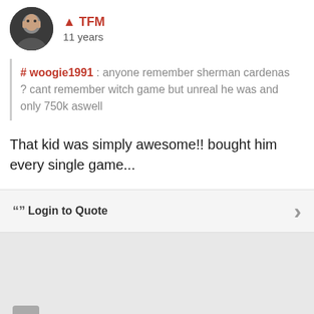TFM · 11 years
# woogie1991 : anyone remember sherman cardenas ? cant remember witch game but unreal he was and only 750k aswell
That kid was simply awesome!! bought him every single game...
Login to Quote